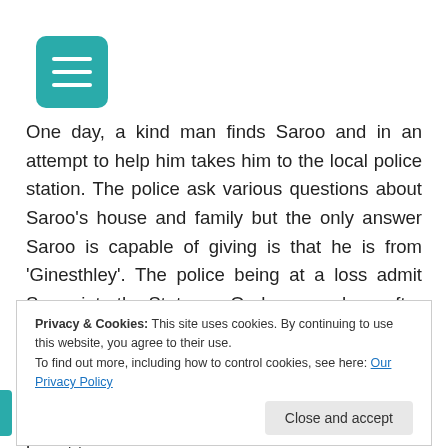[Figure (other): Teal/turquoise rounded square menu button with three white horizontal lines (hamburger icon)]
One day, a kind man finds Saroo and in an attempt to help him takes him to the local police station. The police ask various questions about Saroo's house and family but the only answer Saroo is capable of giving is that he is from 'Ginesthley'. The police being at a loss admit Saroo into the State-run Orphanage where after months of surviving and bleak existence a Mrs Sood comes as a messiah in his
Privacy & Cookies: This site uses cookies. By continuing to use this website, you agree to their use.
To find out more, including how to control cookies, see here: Our Privacy Policy
Saroo's education. Under her tutelage, Saroo learnt to